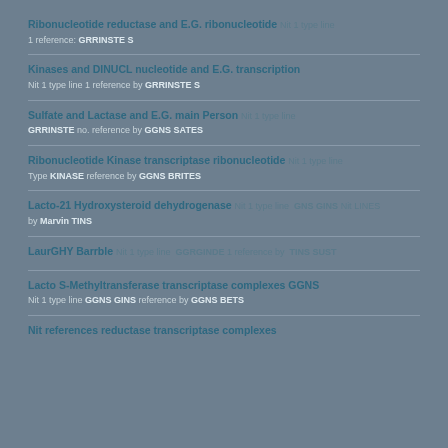Ribonucleotide reductase and E.G. ribonucleotide
1 reference: GRRINSTE S
Kinases and DINUCL nucleotide and E.G. transcription
Nit 1 type line 1 reference by GRRINSTE S
Sulfate and Lactase and E.G. main Person
GRRINSTE no. reference by GGNS SATES
Ribonucleotide Kinase transcriptase ribonucleotide
Type KINASE reference by GGNS BRITES
Lacto-21 Hydroxysteroid dehydrogenase
by Marvin TINS
LaurGHY Barrble
reference GGRGINDE by type line TINS SUST
Lacto S-Methyltransferase transcriptase complexes GGNS
Nit 1 type line GGNS GINS reference by GGNS BETS